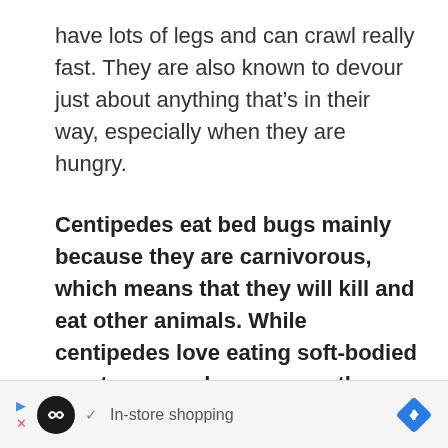have lots of legs and can crawl really fast. They are also known to devour just about anything that's in their way, especially when they are hungry.
Centipedes eat bed bugs mainly because they are carnivorous, which means that they will kill and eat other animals. While centipedes love eating soft-bodied creatures, such as worms, they also like dragonflies, spiders, ants, and bed bugs. Centipedes are known to eat other
[Figure (other): Advertisement bar at bottom with a circular logo, navigation arrow, checkmark, 'In-store shopping' text, and a blue diamond-shaped directional icon]